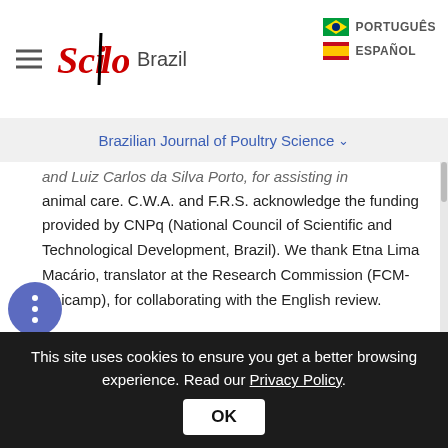[Figure (logo): SciELO Brazil logo with hamburger menu on the left and language options (PORTUGUÊS, ESPAÑOL) on the right]
Brazilian Journal of Poultry Science
and Luiz Carlos da Silva Porto, for assisting in animal care. C.W.A. and F.R.S. acknowledge the funding provided by CNPq (National Council of Scientific and Technological Development, Brazil). We thank Etna Lima Macário, translator at the Research Commission (FCM-Unicamp), for collaborating with the English review.
Mail Address:
CW Arns
Laboratory of Virology. Institute of Biology
CP 6109
This site uses cookies to ensure you get a better browsing experience. Read our Privacy Policy.